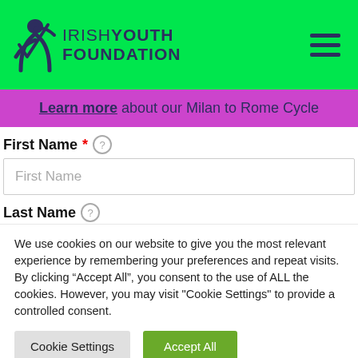[Figure (logo): Irish Youth Foundation logo — stylized figure icon in dark purple/navy on green background, with text 'IRISH YOUTH FOUNDATION']
Learn more about our Milan to Rome Cycle
First Name *
First Name
Last Name
We use cookies on our website to give you the most relevant experience by remembering your preferences and repeat visits. By clicking “Accept All”, you consent to the use of ALL the cookies. However, you may visit "Cookie Settings" to provide a controlled consent.
Cookie Settings
Accept All